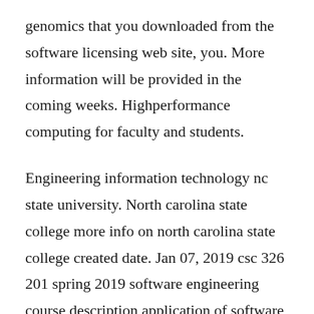genomics that you downloaded from the software licensing web site, you. More information will be provided in the coming weeks. Highperformance computing for faculty and students.
Engineering information technology nc state university. North carolina state college more info on north carolina state college created date. Jan 07, 2019 csc 326 201 spring 2019 software engineering course description application of software engineering methods to develop complex products, including the